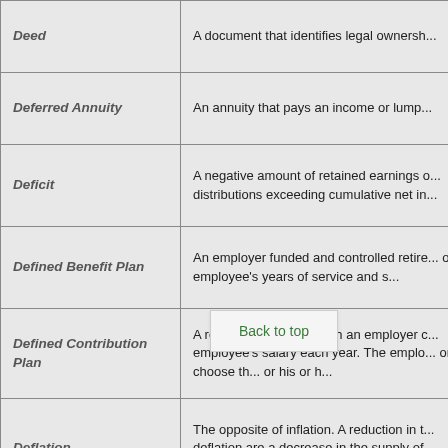| Term | Definition |
| --- | --- |
| Deed | A document that identifies legal ownersh... |
| Deferred Annuity | An annuity that pays an income or lump... |
| Deficit | A negative amount of retained earnings o... distributions exceeding cumulative net in... |
| Defined Benefit Plan | An employer funded and controlled retire... on an employee's years of service and s... |
| Defined Contribution Plan | A retirement plan to which an employer c... employee's salary each year. The emplo... or choose th... or his or h... |
| Deflation | The opposite of inflation. A reduction in t... deflation are a decrease in the supply of... spending. |
|  |  |